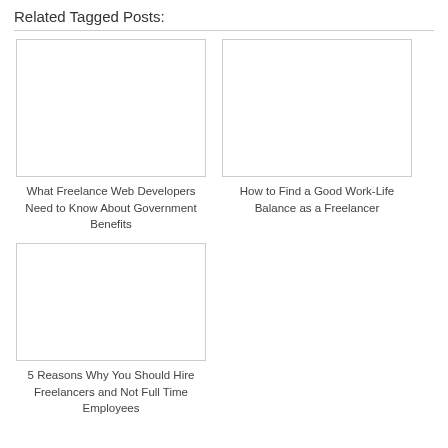Related Tagged Posts:
[Figure (photo): Blank/placeholder image for 'What Freelance Web Developers Need to Know About Government Benefits']
What Freelance Web Developers Need to Know About Government Benefits
[Figure (photo): Blank/placeholder image for 'How to Find a Good Work-Life Balance as a Freelancer']
How to Find a Good Work-Life Balance as a Freelancer
[Figure (photo): Blank/placeholder image for '5 Reasons Why You Should Hire Freelancers and Not Full Time Employees']
5 Reasons Why You Should Hire Freelancers and Not Full Time Employees